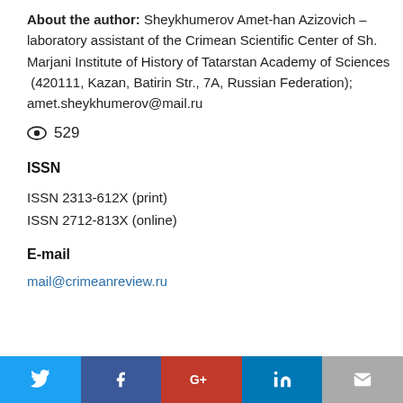About the author: Sheykhumerov Amet-han Azizovich – laboratory assistant of the Crimean Scientific Center of Sh. Marjani Institute of History of Tatarstan Academy of Sciences (420111, Kazan, Batirin Str., 7A, Russian Federation); amet.sheykhumerov@mail.ru
529
ISSN
ISSN 2313-612X (print)
ISSN 2712-813X (online)
E-mail
mail@crimeanreview.ru
Social share bar: Twitter, Facebook, Google+, LinkedIn, Email